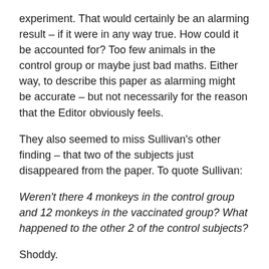experiment. That would certainly be an alarming result – if it were in any way true. How could it be accounted for? Too few animals in the control group or maybe just bad maths. Either way, to describe this paper as alarming might be accurate – but not necessarily for the reason that the Editor obviously feels.
They also seemed to miss Sullivan's other finding – that two of the subjects just disappeared from the paper. To quote Sullivan:
Weren't there 4 monkeys in the control group and 12 monkeys in the vaccinated group? What happened to the other 2 of the control subjects?
Shoddy.